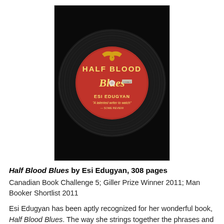[Figure (photo): Book cover of 'Half Blood Blues' by Esi Edugyan, showing a vinyl record with a red label that reads 'HALF BLOOD Blues ESI EDUGYAN' with a golden eagle emblem, on a black background.]
Half Blood Blues by Esi Edugyan, 308 pages
Canadian Book Challenge 5; Giller Prize Winner 2011; Man Booker Shortlist 2011
Esi Edugyan has been aptly recognized for her wonderful book, Half Blood Blues. The way she strings together the phrases and descriptions of music was wondrous. The slang of an American blues man living in Germany in the early 1940s was smooth, all those janes and jacks and licorice